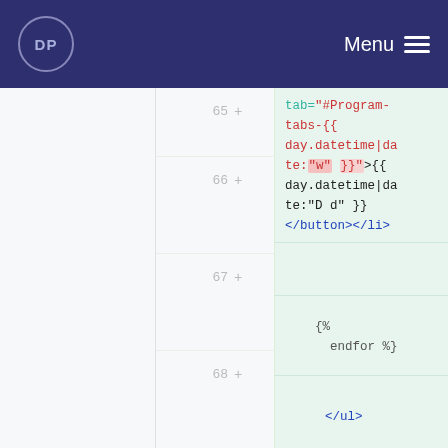DP  Menu
[Figure (screenshot): Code diff view showing lines 65-68 of a template file with HTML and Jinja2 template code including tab attribute with datetime filter, endfor tag, closing ul and nav tags. Green highlighted diff area on right pane.]